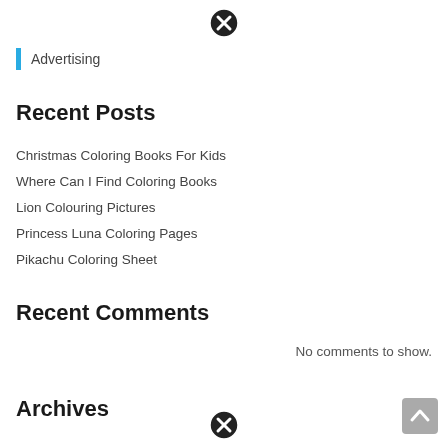[Figure (illustration): Close/cancel button icon (circle with X) at top center]
Advertising
Recent Posts
Christmas Coloring Books For Kids
Where Can I Find Coloring Books
Lion Colouring Pictures
Princess Luna Coloring Pages
Pikachu Coloring Sheet
Recent Comments
No comments to show.
Archives
[Figure (illustration): Close/cancel button icon (circle with X) at bottom center]
[Figure (illustration): Scroll-to-top button (grey square with upward arrow) at bottom right]